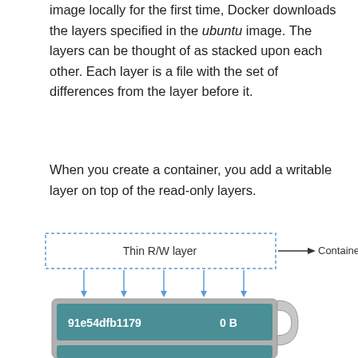image locally for the first time, Docker downloads the layers specified in the ubuntu image. The layers can be thought of as stacked upon each other. Each layer is a file with the set of differences from the layer before it.
When you create a container, you add a writable layer on top of the read-only layers.
[Figure (engineering-diagram): Diagram showing a dashed-border box labeled 'Thin R/W layer' with arrows pointing down into a gray box containing a teal row labeled '91e54dfb1179' and '0 B'. An arrow to the right of the top box points right with label 'Container layer'.]